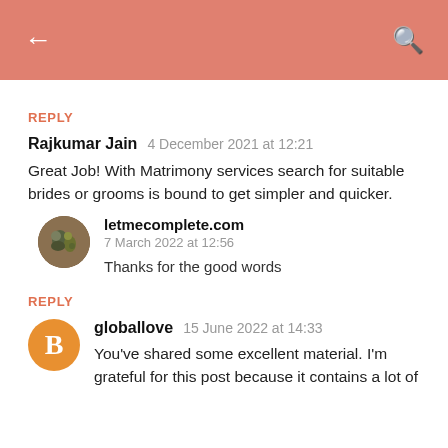← (back) (search)
REPLY
Rajkumar Jain  4 December 2021 at 12:21
Great Job! With Matrimony services search for suitable brides or grooms is bound to get simpler and quicker.
[Figure (photo): Round avatar image of letmecomplete.com blog]
letmecomplete.com
7 March 2022 at 12:56
Thanks for the good words
REPLY
[Figure (logo): Orange circle with Blogger 'B' icon for globallove user]
globallove  15 June 2022 at 14:33
You've shared some excellent material. I'm grateful for this post because it contains a lot of